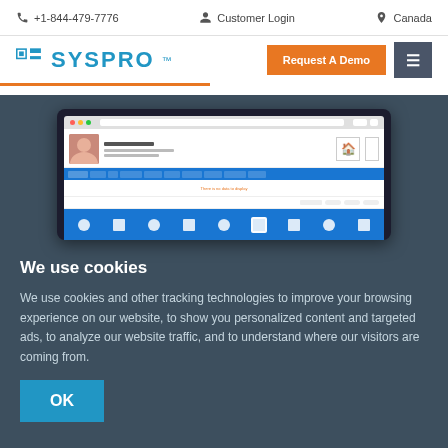+1-844-479-7776   Customer Login   Canada
[Figure (logo): SYSPRO logo with blue icon and text]
Request A Demo
[Figure (screenshot): Screenshot of SYSPRO ERP software interface showing a user profile page with navigation bar, blue menu items, and action buttons]
We use cookies
We use cookies and other tracking technologies to improve your browsing experience on our website, to show you personalized content and targeted ads, to analyze our website traffic, and to understand where our visitors are coming from.
OK